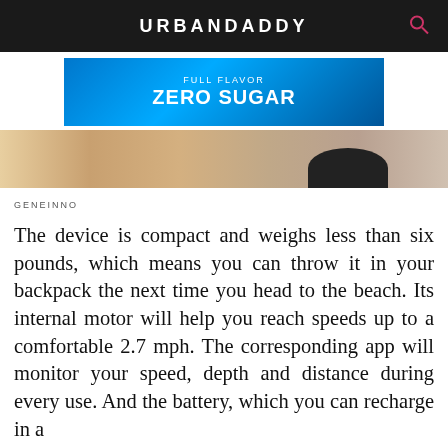URBANDADDY
[Figure (photo): Monster Energy drink advertisement banner showing multiple cans with text 'FULL FLAVOR ZERO SUGAR']
[Figure (photo): Partial hero image showing a beach scene with skin/body and sand, with a dark circular object visible]
GENEINNO
The device is compact and weighs less than six pounds, which means you can throw it in your backpack the next time you head to the beach. Its internal motor will help you reach speeds up to a comfortable 2.7 mph. The corresponding app will monitor your speed, depth and distance during every use. And the battery, which you can recharge in a